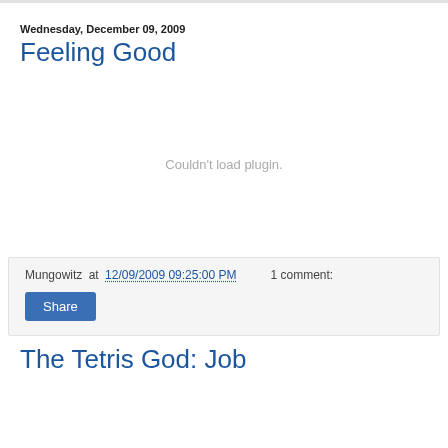Wednesday, December 09, 2009
Feeling Good
[Figure (other): Embedded plugin area showing 'Couldn't load plugin.' error message]
Mungowitz at 12/09/2009 09:25:00 PM    1 comment:
Share
The Tetris God: Job